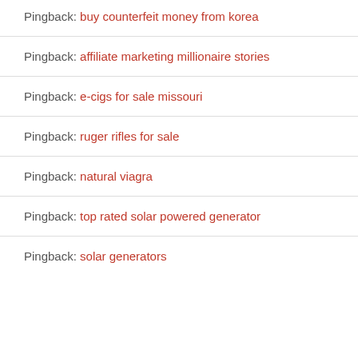Pingback: buy counterfeit money from korea
Pingback: affiliate marketing millionaire stories
Pingback: e-cigs for sale missouri
Pingback: ruger rifles for sale
Pingback: natural viagra
Pingback: top rated solar powered generator
Pingback: solar generators